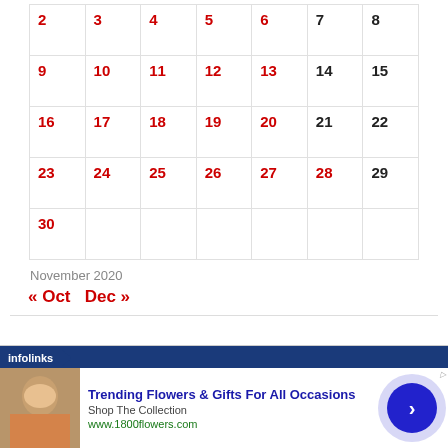| 2 | 3 | 4 | 5 | 6 | 7 | 8 |
| 9 | 10 | 11 | 12 | 13 | 14 | 15 |
| 16 | 17 | 18 | 19 | 20 | 21 | 22 |
| 23 | 24 | 25 | 26 | 27 | 28 | 29 |
| 30 |  |  |  |  |  |  |
November 2020
« Oct   Dec »
[Figure (screenshot): Infolinks advertisement banner: Trending Flowers & Gifts For All Occasions - Shop The Collection - www.1800flowers.com, with photo of woman holding flowers and a blue circle arrow button]